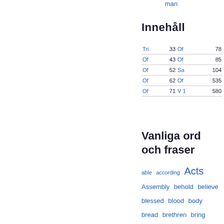man
Innehåll
| Tri | 33 | Of | 78 |
| Of | 43 | Of | 85 |
| Of | 52 | Sa | 104 |
| Of | 62 | Of | 535 |
| Of | 71 | V 1 | 580 |
Vanliga ord och fraser
able  according  Acts  Assembly  behold  believe  blessed  blood  body  bread  brethren  bring  called  cause  church